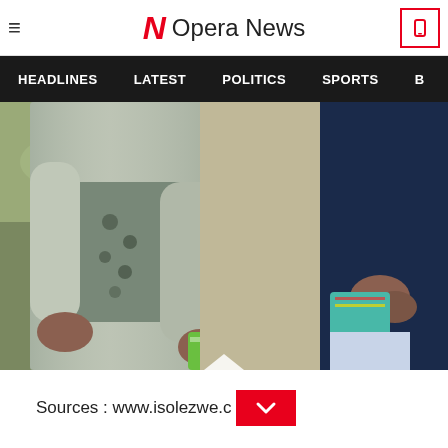≡  N Opera News  [phone icon]
HEADLINES   LATEST   POLITICS   SPORTS   B
[Figure (photo): Close-up photo of people standing outdoors on dry grass. Central figure wears a grey jacket over a camouflage shirt with skull prints and holds a green energy drink can. Another person in dark blue jacket is partially visible on the right holding a blue patterned bag.]
Sources : www.isolezwe.c